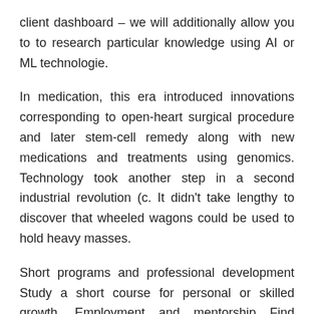client dashboard – we will additionally allow you to to research particular knowledge using AI or ML technologie.
In medication, this era introduced innovations corresponding to open-heart surgical procedure and later stem-cell remedy along with new medications and treatments using genomics. Technology took another step in a second industrial revolution (c. It didn't take lengthy to discover that wheeled wagons could be used to hold heavy masses.
Short programs and professional development Study a short course for personal or skilled growth. Employment and mentorship Find graduate and scholar